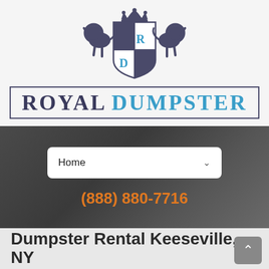[Figure (logo): Royal Dumpster logo with heraldic crest featuring two lions, a crown, and a shield with R and D letters in blue, above the text ROYAL DUMPSTER in a bordered box]
[Figure (screenshot): Dark navigation bar with a white dropdown showing 'Home' and a chevron, and an orange phone number (888) 880-7716]
Dumpster Rental Keeseville, NY